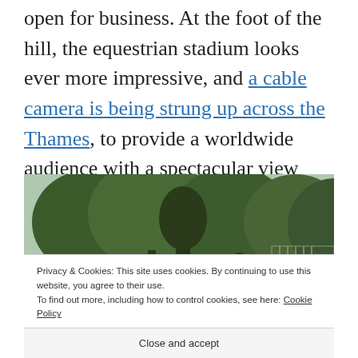open for business. At the foot of the hill, the equestrian stadium looks ever more impressive, and a cable camera is being strung up across the Thames, to provide a worldwide audience with a spectacular view across the park. Our temporary loss will be the world's gain.
[Figure (photo): Outdoor photo showing trees, fencing, and construction/shipping containers in what appears to be a park or outdoor venue area]
Privacy & Cookies: This site uses cookies. By continuing to use this website, you agree to their use.
To find out more, including how to control cookies, see here: Cookie Policy
Close and accept